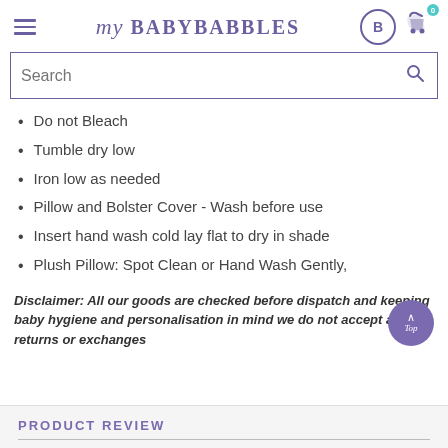my BABY BABBLES
Do not Bleach
Tumble dry low
Iron low as needed
Pillow and Bolster Cover - Wash before use
Insert hand wash cold lay flat to dry in shade
Plush Pillow: Spot Clean or Hand Wash Gently,
Disclaimer: All our goods are checked before dispatch and keeping baby hygiene and personalisation in mind we do not accept any returns or exchanges
PRODUCT REVIEW